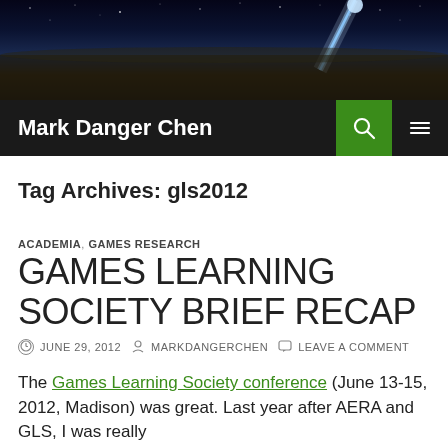[Figure (photo): Dark nighttime header image with stars and a blue light beam/streak against a dark sky]
Mark Danger Chen
Tag Archives: gls2012
ACADEMIA, GAMES RESEARCH
GAMES LEARNING SOCIETY BRIEF RECAP
JUNE 29, 2012  MARKDANGERCHEN  LEAVE A COMMENT
The Games Learning Society conference (June 13-15, 2012, Madison) was great. Last year after AERA and GLS, I was really